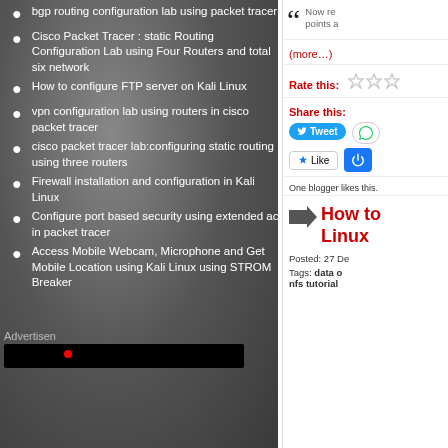bgp routing configuration lab using packet tracer
Cisco Packet Tracer : static Routing Configuration Lab using Four Routers and total six network
How to configure FTP server on Kali Linux
vpn configuration lab using routers in cisco packet tracer
cisco packet tracer lab:configuring static routing using three routers
Firewall installation and configuration in Kali Linux
Configure port based security using extended acl in packet tracer
Access Mobile Webcam, Microphone and Get Mobile Location using Kali Linux using STROM Breaker
Advertisen
Now rea points a
(more...)
Rate this:
Share this:
Tweet
Like
One blogger likes this.
How to Linux
Posted: 27 De
Tags: data o nfs tutorial